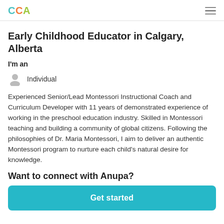CCA
Early Childhood Educator in Calgary, Alberta
I'm an
Individual
Experienced Senior/Lead Montessori Instructional Coach and Curriculum Developer with 11 years of demonstrated experience of working in the preschool education industry. Skilled in Montessori teaching and building a community of global citizens. Following the philosophies of Dr. Maria Montessori, I aim to deliver an authentic Montessori program to nurture each child's natural desire for knowledge.
Want to connect with Anupa?
Get started